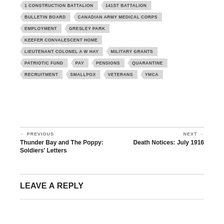1 CONSTRUCTION BATTALION
141ST BATTALION
BULLETIN BOARD
CANADIAN ARMY MEDICAL CORPS
EMPLOYMENT
GRESLEY PARK
KEEFER CONVALESCENT HOME
LIEUTENANT COLONEL A W HAY
MILITARY GRANTS
PATRIOTIC FUND
PAY
PENSIONS
QUARANTINE
RECRUITMENT
SMALLPOX
VETERANS
YMCA
← PREVIOUS
Thunder Bay and The Poppy: Soldiers' Letters
NEXT →
Death Notices: July 1916
LEAVE A REPLY